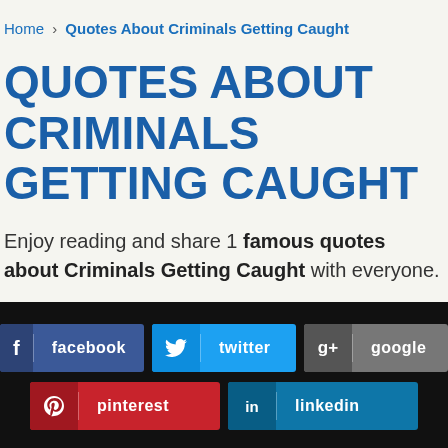Home › Quotes About Criminals Getting Caught
QUOTES ABOUT CRIMINALS GETTING CAUGHT
Enjoy reading and share 1 famous quotes about Criminals Getting Caught with everyone.
[Figure (infographic): Social sharing buttons bar with facebook, twitter, google, pinterest, and linkedin buttons on a black background]